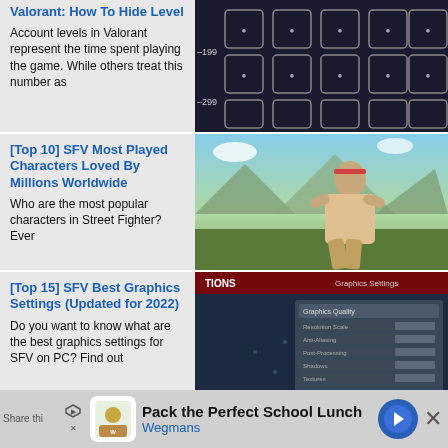Valorant: How To Hide Level
Account levels in Valorant represent the time spent playing the game. While others treat this number as
[Figure (screenshot): Valorant account level badges grid on dark background]
[Top 10] SFV Most Played Characters Loved By Millions Worldwide
Who are the most popular characters in Street Fighter? Ever
[Figure (screenshot): Street Fighter V character (Ryu) in fighting stance outdoors]
[Top 15] SFV Best Graphics Settings (Updated for 2022)
Do you want to know what are the best graphics settings for SFV on PC? Find out
[Figure (screenshot): Street Fighter V graphics settings menu on PC]
[Top 5] SFV Best Control Sticks (Used By The Best Players In the World)
[Figure (photo): Arcade fight stick controller with yellow ball top on black base]
Pack the Perfect School Lunch
Wegmans
Share thi...